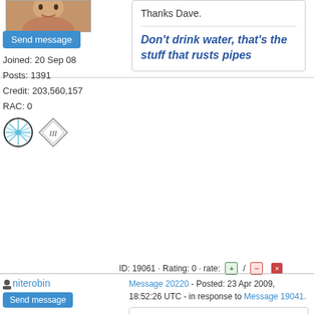[Figure (photo): User avatar photo showing a face, cropped]
Send message
Joined: 20 Sep 08
Posts: 1391
Credit: 203,560,157
RAC: 0
[Figure (illustration): Two user badges: a star/asterisk circle badge and a diamond III badge]
Thanks Dave.
Don't drink water, that's the stuff that rusts pipes
ID: 19061 · Rating: 0 · rate: [+] / [-] [flag]
niterobin
Message 20220 - Posted: 23 Apr 2009, 18:52:26 UTC - in response to Message 19041.
Send message
Joined: 11 Mar 08
Posts: 28
Credit: 818,194
RAC: 0
[Figure (illustration): Two user badges: a star circle badge and a diamond IV badge]
This makes a lot of sense, and thanks for it.

However, I do have one comment: If someone joins the project and has difficulties setting up Milkyway, they won't be able to post any questions they have.
I think...